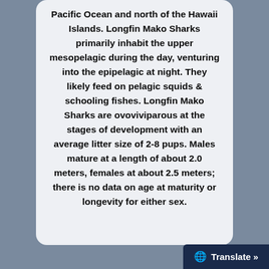Pacific Ocean and north of the Hawaii Islands. Longfin Mako Sharks primarily inhabit the upper mesopelagic during the day, venturing into the epipelagic at night. They likely feed on pelagic squids & schooling fishes. Longfin Mako Sharks are ovoviviparous at the stages of development with an average litter size of 2-8 pups. Males mature at a length of about 2.0 meters, females at about 2.5 meters; there is no data on age at maturity or longevity for either sex.